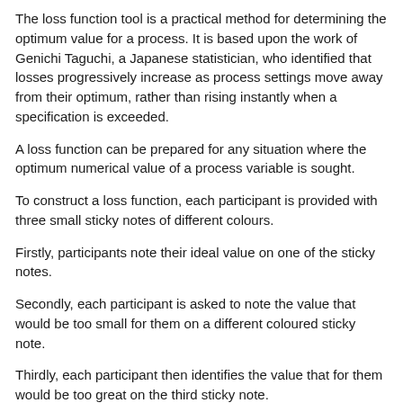The loss function tool is a practical method for determining the optimum value for a process. It is based upon the work of Genichi Taguchi, a Japanese statistician, who identified that losses progressively increase as process settings move away from their optimum, rather than rising instantly when a specification is exceeded.
A loss function can be prepared for any situation where the optimum numerical value of a process variable is sought.
To construct a loss function, each participant is provided with three small sticky notes of different colours.
Firstly, participants note their ideal value on one of the sticky notes.
Secondly, each participant is asked to note the value that would be too small for them on a different coloured sticky note.
Thirdly, each participant then identifies the value that for them would be too great on the third sticky note.